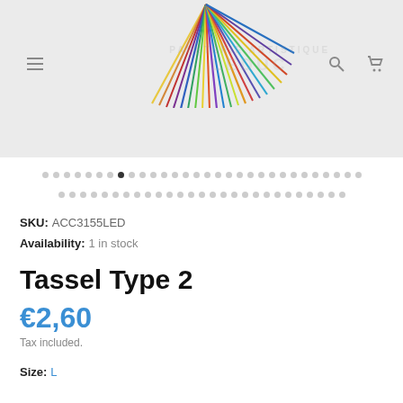[Figure (photo): Product image area showing colorful tassel/strands against a light gray background, with a faint LEDUC watermark and navigation icons]
[Figure (infographic): Two rows of dots serving as image carousel navigation indicators; the 8th dot in the first row is filled/active (black), all others are light gray]
SKU: ACC3155LED
Availability: 1 in stock
Tassel Type 2
€2,60
Tax included.
Size: L